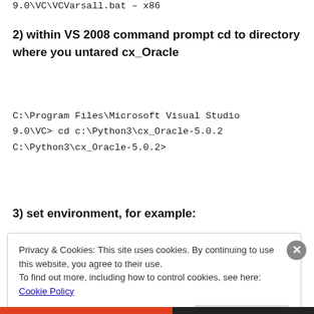9.0\VC\VCVarsall.bat – x86
2) within VS 2008 command prompt cd to directory where you untared cx_Oracle
C:\Program Files\Microsoft Visual Studio 9.0\VC> cd c:\Python3\cx_Oracle-5.0.2
C:\Python3\cx_Oracle-5.0.2>
3) set environment, for example:
Privacy & Cookies: This site uses cookies. By continuing to use this website, you agree to their use.
To find out more, including how to control cookies, see here: Cookie Policy